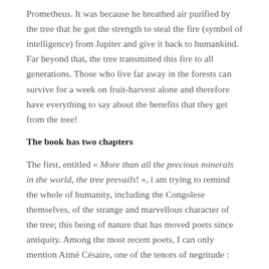Prometheus. It was because he breathed air purified by the tree that he got the strength to steal the fire (symbol of intelligence) from Jupiter and give it back to humankind. Far beyond that, the tree transmitted this fire to all generations. Those who live far away in the forests can survive for a week on fruit-harvest alone and therefore have everything to say about the benefits that they get from the tree!
The book has two chapters
The first, entitled « More than all the precious minerals in the world, the tree prevails! », i am trying to remind the whole of humanity, including the Congolese themselves, of the strange and marvellous character of the tree; this being of nature that has moved poets since antiquity. Among the most recent poets, I can only mention Aimé Césaire, one of the tenors of negritude :